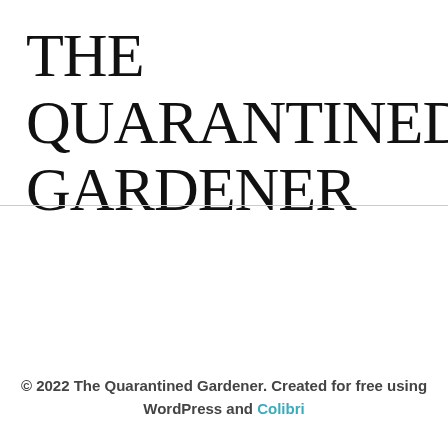THE QUARANTINED GARDENER
© 2022 The Quarantined Gardener. Created for free using WordPress and Colibri